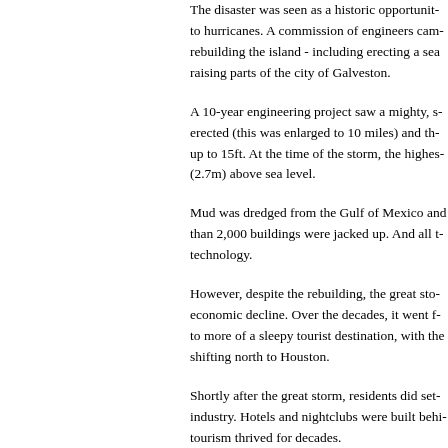The disaster was seen as a historic opportunity to hurricanes. A commission of engineers came rebuilding the island - including erecting a sea raising parts of the city of Galveston.
A 10-year engineering project saw a mighty, se erected (this was enlarged to 10 miles) and th up to 15ft. At the time of the storm, the highes (2.7m) above sea level.
Mud was dredged from the Gulf of Mexico and than 2,000 buildings were jacked up. And all t technology.
However, despite the rebuilding, the great stor economic decline. Over the decades, it went fr to more of a sleepy tourist destination, with the shifting north to Houston.
Shortly after the great storm, residents did set industry. Hotels and nightclubs were built behi tourism thrived for decades.
Galveston was showing the world that it was n
However, in 1961 the city was hit by Hurricane surges back but tornadoes went over the wall